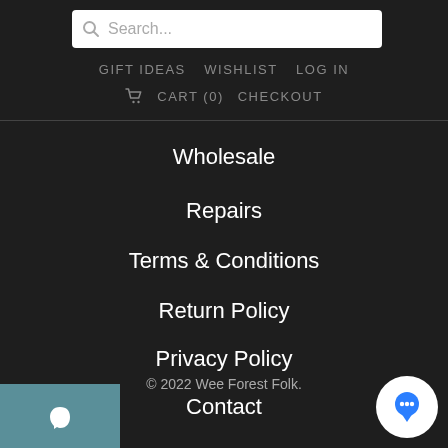Search...
GIFT IDEAS   WISHLIST   LOG IN
CART (0)   CHECKOUT
Wholesale
Repairs
Terms & Conditions
Return Policy
Privacy Policy
Contact
© 2022 Wee Forest Folk.